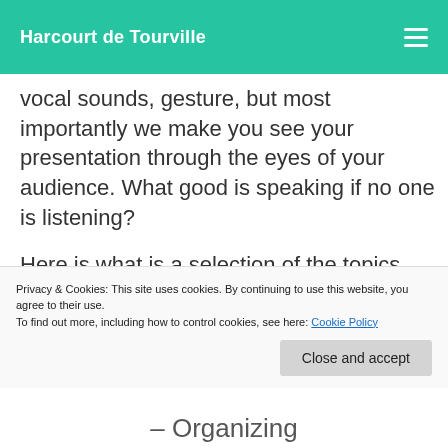Harcourt de Tourville
vocal sounds, gesture, but most importantly we make you see your presentation through the eyes of your audience. What good is speaking if no one is listening?
Here is what is a selection of the topics covered:
Privacy & Cookies: This site uses cookies. By continuing to use this website, you agree to their use. To find out more, including how to control cookies, see here: Cookie Policy
– Organizing